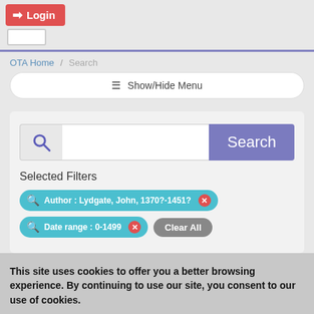Login
OTA Home / Search
Show/Hide Menu
Search
Selected Filters
Author : Lydgate, John, 1370?-1451?
Date range : 0-1499
Clear All
This site uses cookies to offer you a better browsing experience. By continuing to use our site, you consent to our use of cookies.
I Understand
More Information